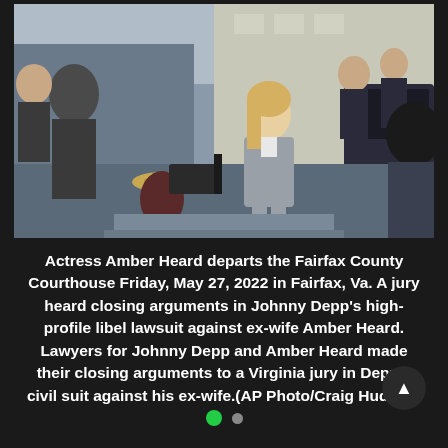[Figure (photo): Actress Amber Heard departing the Fairfax County Courthouse, surrounded by law enforcement officers and media camera crew. She is wearing a grey blazer suit. The scene is outside a courthouse building.]
Actress Amber Heard departs the Fairfax County Courthouse Friday, May 27, 2022 in Fairfax, Va. A jury heard closing arguments in Johnny Depp's high-profile libel lawsuit against ex-wife Amber Heard. Lawyers for Johnny Depp and Amber Heard made their closing arguments to a Virginia jury in Depp's civil suit against his ex-wife.(AP Photo/Craig Hudson)